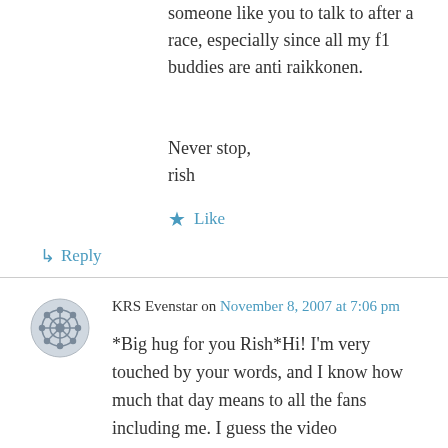someone like you to talk to after a race, especially since all my f1 buddies are anti raikkonen.
Never stop,
rish
★ Like
↳ Reply
KRS Evenstar on November 8, 2007 at 7:06 pm
*Big hug for you Rish*Hi! I'm very touched by your words, and I know how much that day means to all the fans including me. I guess the video successfully portrayed the feelings! If you wanna chat just email me, or join the KRS forum